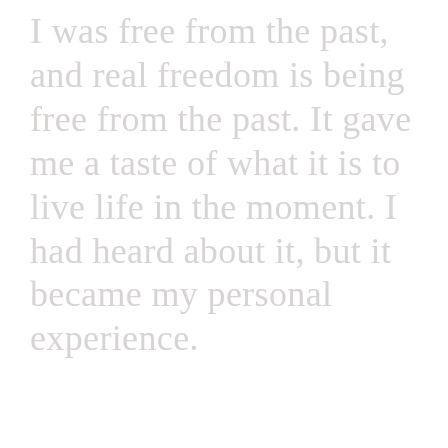I was free from the past, and real freedom is being free from the past. It gave me a taste of what it is to live life in the moment. I had heard about it, but it became my personal experience.